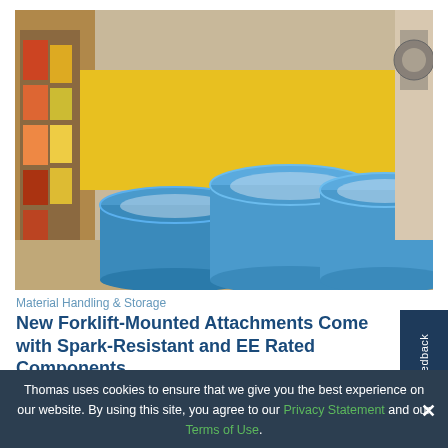[Figure (photo): Blue industrial drums/barrels stored in a warehouse with yellow safety barriers, shelving with products in the background.]
Material Handling & Storage
New Forklift-Mounted Attachments Come with Spark-Resistant and EE Rated Components
[Figure (photo): Partial view of forklift attachments/machinery on a light gray background with red and yellow equipment visible on the right.]
Thomas uses cookies to ensure that we give you the best experience on our website. By using this site, you agree to our Privacy Statement and our Terms of Use.